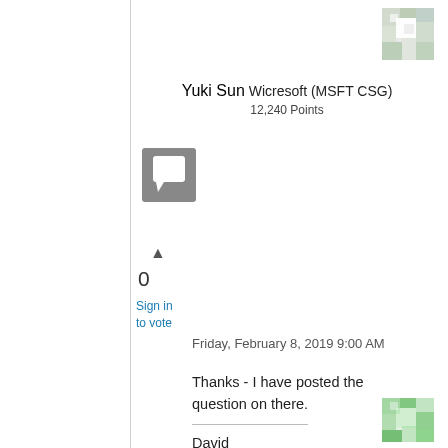[Figure (illustration): Mosaic/pixelated avatar thumbnail at top right]
Yuki Sun Wicresoft (MSFT CSG)
12,240 Points
[Figure (illustration): Grey square chat/comment icon]
▲
0
Sign in to vote
Thanks - I have posted the question on there.

David
Friday, February 8, 2019 9:00 AM
[Figure (illustration): Mosaic/pixelated avatar thumbnail at bottom right]